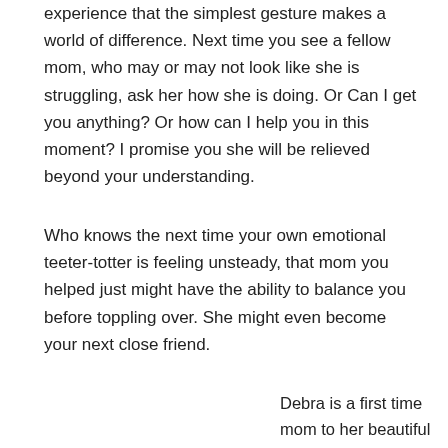experience that the simplest gesture makes a world of difference. Next time you see a fellow mom, who may or may not look like she is struggling, ask her how she is doing. Or Can I get you anything? Or how can I help you in this moment? I promise you she will be relieved beyond your understanding.
Who knows the next time your own emotional teeter-totter is feeling unsteady, that mom you helped just might have the ability to balance you before toppling over. She might even become your next close friend.
Debra is a first time mom to her beautiful rainbow baby Skyler, a wife, a blogger and